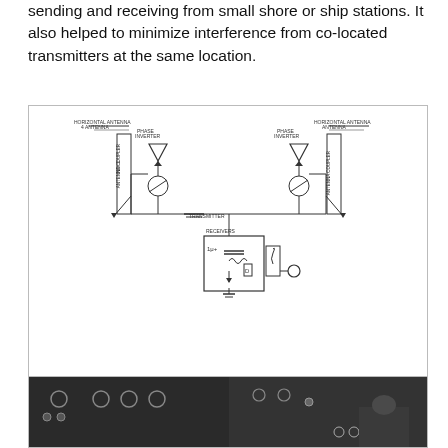sending and receiving from small shore or ship stations. It also helped to minimize interference from co-located transmitters at the same location.
[Figure (circuit-diagram): Circuit diagram of a Barrage Receiver showing two phase inverter units each connected to horizontal antennas, with a transmitter at center bottom and associated components.]
Figure 9. Circuit Diagram of Barrage Receiver.
[Figure (photo): Black and white photograph of electronic equipment panels for the Barrage Receiver, showing front panels with knobs and controls, and a person working on the equipment.]